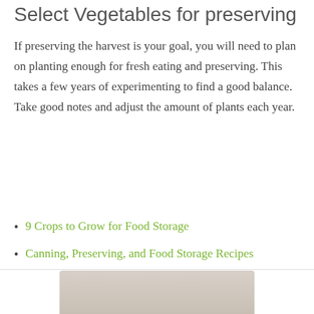Select Vegetables for preserving
If preserving the harvest is your goal, you will need to plan on planting enough for fresh eating and preserving. This takes a few years of experimenting to find a good balance. Take good notes and adjust the amount of plants each year.
9 Crops to Grow for Food Storage
Canning, Preserving, and Food Storage Recipes
[Figure (photo): Partial view of a vegetable or food preservation related image at the bottom of the page]